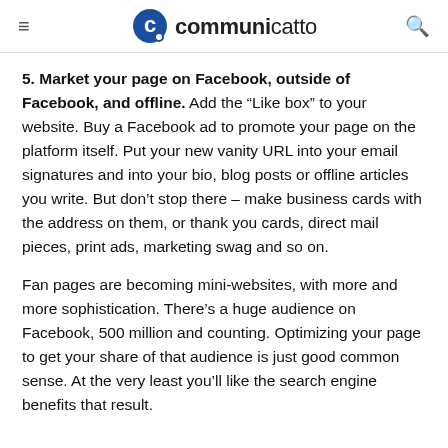communicatto
5. Market your page on Facebook, outside of Facebook, and offline. Add the “Like box” to your website. Buy a Facebook ad to promote your page on the platform itself. Put your new vanity URL into your email signatures and into your bio, blog posts or offline articles you write. But don’t stop there – make business cards with the address on them, or thank you cards, direct mail pieces, print ads, marketing swag and so on.
Fan pages are becoming mini-websites, with more and more sophistication. There’s a huge audience on Facebook, 500 million and counting. Optimizing your page to get your share of that audience is just good common sense. At the very least you’ll like the search engine benefits that result.